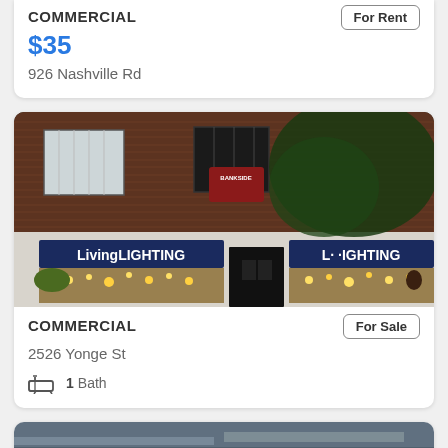COMMERCIAL
For Rent
$35
926 Nashville Rd
[Figure (photo): Street-level photo of a commercial storefront with 'LivingLIGHTING' signage on dark blue awning, brick building facade, trees.]
COMMERCIAL
For Sale
2526 Yonge St
1 Bath
[Figure (photo): Partial view of another property photo at the bottom of the page.]